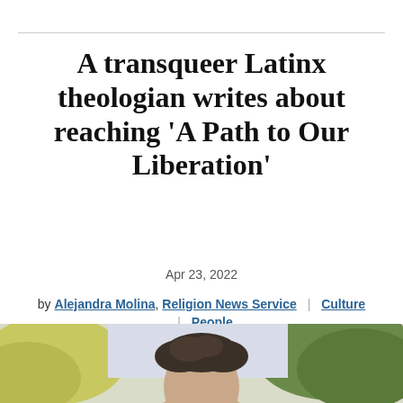A transqueer Latinx theologian writes about reaching 'A Path to Our Liberation'
Apr 23, 2022
by Alejandra Molina, Religion News Service | Culture | People
[Figure (photo): Portrait photo of a person, cropped at the top of the head, visible from the forehead up, outdoors with greenery in background]